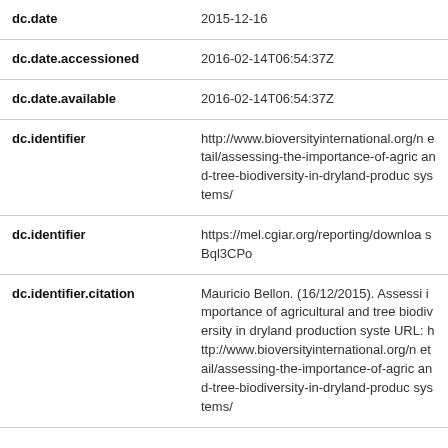| Field | Value |
| --- | --- |
| dc.date | 2015-12-16 |
| dc.date.accessioned | 2016-02-14T06:54:37Z |
| dc.date.available | 2016-02-14T06:54:37Z |
| dc.identifier | http://www.bioversityinternational.org/n etail/assessing-the-importance-of-agric and-tree-biodiversity-in-dryland-produc systems/ |
| dc.identifier | https://mel.cgiar.org/reporting/downloa sBql3CPo |
| dc.identifier.citation | Mauricio Bellon. (16/12/2015). Assessi importance of agricultural and tree biodiversity in dryland production syste URL: http://www.bioversityinternational.org/n etail/assessing-the-importance-of-agric and-tree-biodiversity-in-dryland-produc systems/ |